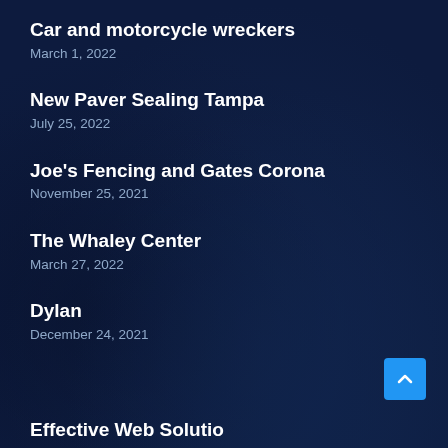Car and motorcycle wreckers
March 1, 2022
New Paver Sealing Tampa
July 25, 2022
Joe's Fencing and Gates Corona
November 25, 2021
The Whaley Center
March 27, 2022
Dylan
December 24, 2021
Effective Web Solutions